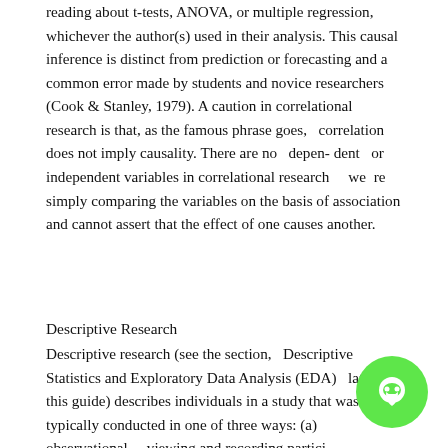reading about t-tests, ANOVA, or multiple regression, whichever the author(s) used in their analysis. This causal inference is distinct from prediction or forecasting and a common error made by students and novice researchers (Cook & Stanley, 1979). A caution in correlational research is that, as the famous phrase goes,  correlation does not imply causality. There are no  depen- dent  or  independent variables in correlational research   we  re simply comparing the variables on the basis of association and cannot assert that the effect of one causes another.
Descriptive Research
Descriptive research (see the section,  Descriptive Statistics and Exploratory Data Analysis (EDA)  later in this guide) describes individuals in a study that was typically conducted in one of three ways: (a) observational   viewing and recording partici-